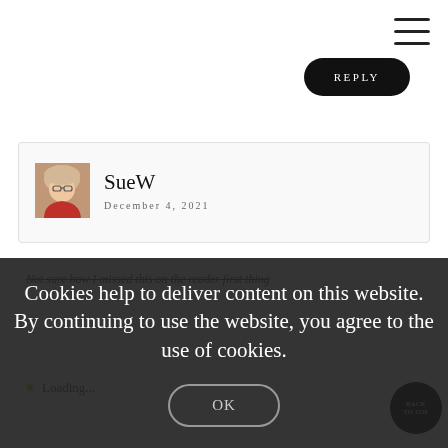[Figure (other): Hamburger menu icon, three horizontal lines, top right corner]
REPLY
[Figure (photo): Profile photo of SueW, a woman with glasses and blonde hair wearing a red top]
SueW
December 4, 2021
Not sure how I missed this on the reader first thing
Cookies help to deliver content on this website. By continuing to use the website, you agree to the use of cookies.
OK
Loading...